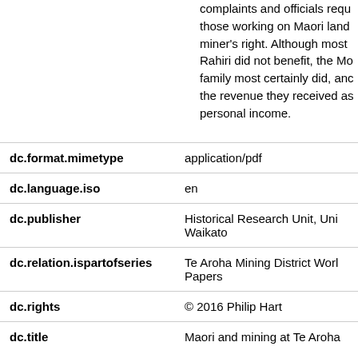complaints and officials requ those working on Maori land miner's right. Although most Rahiri did not benefit, the Mo family most certainly did, anc the revenue they received as personal income.
| Field | Value |
| --- | --- |
| dc.format.mimetype | application/pdf |
| dc.language.iso | en |
| dc.publisher | Historical Research Unit, Uni Waikato |
| dc.relation.ispartofseries | Te Aroha Mining District Worl Papers |
| dc.rights | © 2016 Philip Hart |
| dc.title | Maori and mining at Te Aroha |